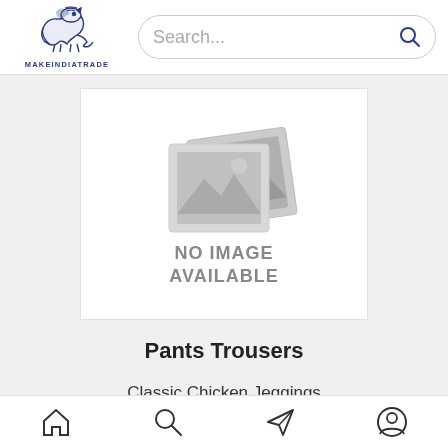MAKEINDIATRADE — Search bar
[Figure (illustration): No image available placeholder — two overlapping grey photo icons with mountains silhouette and text 'NO IMAGE AVAILABLE']
Pants Trousers
Classic Chicken Jeggings
Fancy Chicken Jeggings
Red Chicken Jeggings
Home | Search | Navigate | Profile